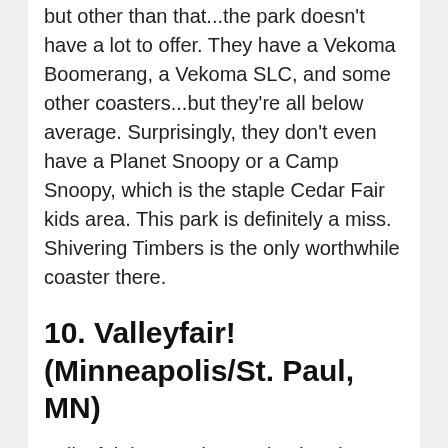but other than that...the park doesn't have a lot to offer. They have a Vekoma Boomerang, a Vekoma SLC, and some other coasters...but they're all below average. Surprisingly, they don't even have a Planet Snoopy or a Camp Snoopy, which is the staple Cedar Fair kids area. This park is definitely a miss. Shivering Timbers is the only worthwhile coaster there.
10. Valleyfair! (Minneapolis/St. Paul, MN)
Valleyfair is a moderate sized park located in Shakopee, MN, which is very close to the cities of Minneapolis and St. Paul. Like we said before, the Cedar Fair company was formed when Cedar Point bought Valleyfair. The “fair” part of